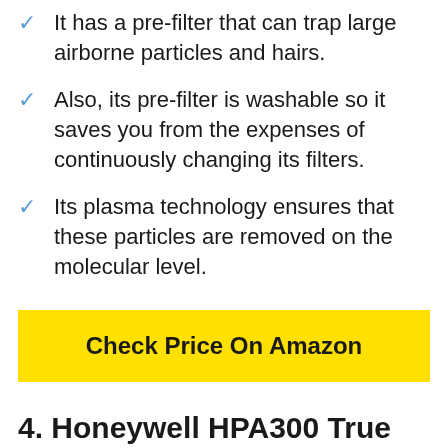It has a pre-filter that can trap large airborne particles and hairs.
Also, its pre-filter is washable so it saves you from the expenses of continuously changing its filters.
Its plasma technology ensures that these particles are removed on the molecular level.
Check Price On Amazon
4. Honeywell HPA300 True